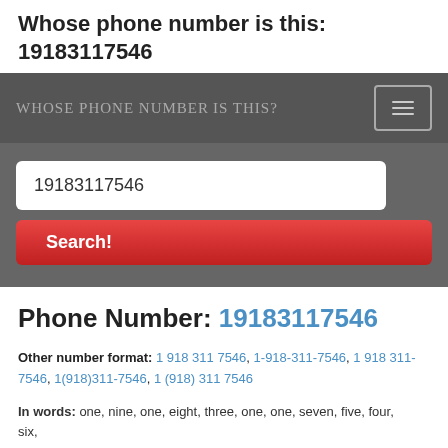Whose phone number is this: 19183117546
[Figure (screenshot): Navigation bar with 'Whose Phone Number Is This?' brand text and hamburger menu toggle button]
[Figure (screenshot): Search area with input field showing '19183117546' and a red 'Search!' button]
Phone Number: 19183117546
Other number format: 1 918 311 7546, 1-918-311-7546, 1 918 311-7546, 1(918)311-7546, 1 (918) 311 7546
In words: one, nine, one, eight, three, one, one, seven, five, four, six,